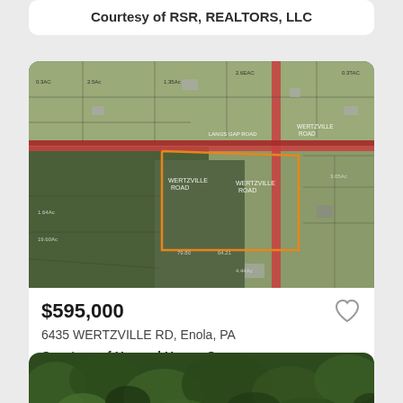Courtesy of RSR, REALTORS, LLC
[Figure (map): Aerial/satellite parcel map showing Wertzville Road area in Enola, PA with property boundary highlighted in orange]
$595,000
6435 WERTZVILLE RD, Enola, PA
Courtesy of Howard Hanna Compan...
[Figure (photo): Partial aerial photo of forested area, bottom of page]